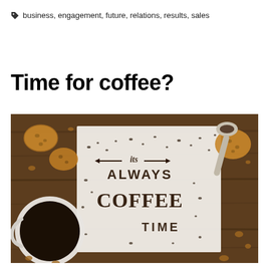business, engagement, future, relations, results, sales
Time for coffee?
[Figure (photo): Overhead photo on a dark wooden table showing a white mug of black coffee, several cookies/biscuits, a spoon, and coffee grounds arranged on a white paper to spell out 'It's Always Coffee Time' in decorative lettering.]